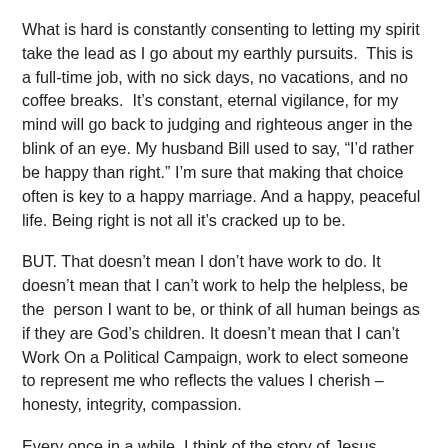What is hard is constantly consenting to letting my spirit take the lead as I go about my earthly pursuits.  This is a full-time job, with no sick days, no vacations, and no coffee breaks.  It's constant, eternal vigilance, for my mind will go back to judging and righteous anger in the blink of an eye. My husband Bill used to say, “I’d rather be happy than right.” I’m sure that making that choice often is key to a happy marriage. And a happy, peaceful life. Being right is not all it’s cracked up to be.
BUT. That doesn’t mean I don’t have work to do. It doesn’t mean that I can’t work to help the helpless, be the  person I want to be, or think of all human beings as if they are God’s children. It doesn’t mean that I can’t Work On a Political Campaign, work to elect someone to represent me who reflects the values I cherish – honesty, integrity, compassion.
Every once in a while, I think of the story of Jesus, however you see him – as myth, as prophet, as great spiritual teacher, as brother, as the way-shower, as the Son of God – as he turned